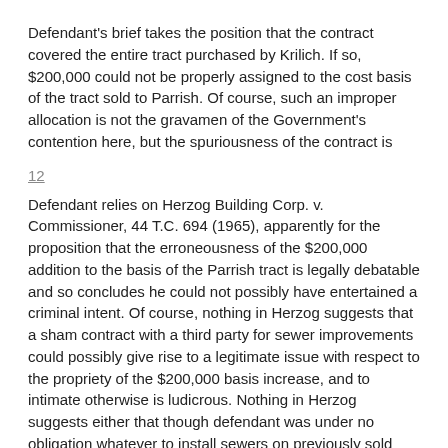Defendant's brief takes the position that the contract covered the entire tract purchased by Krilich. If so, $200,000 could not be properly assigned to the cost basis of the tract sold to Parrish. Of course, such an improper allocation is not the gravamen of the Government's contention here, but the spuriousness of the contract is
12
Defendant relies on Herzog Building Corp. v. Commissioner, 44 T.C. 694 (1965), apparently for the proposition that the erroneousness of the $200,000 addition to the basis of the Parrish tract is legally debatable and so concludes he could not possibly have entertained a criminal intent. Of course, nothing in Herzog suggests that a sham contract with a third party for sewer improvements could possibly give rise to a legitimate issue with respect to the propriety of the $200,000 basis increase, and to intimate otherwise is ludicrous. Nothing in Herzog suggests either that though defendant was under no obligation whatever to install sewers on previously sold property, he could reasonably expect properly to increase the basis of that property by later entering into a sewer contract with a third party benefitting that property, even making the incredible assumption that he was doing that